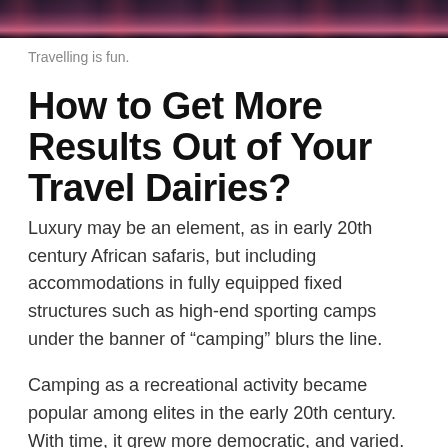[Figure (photo): Top strip of a dark photograph, likely a nighttime travel scene with pink and purple hues over water or landscape.]
Travelling is fun.
How to Get More Results Out of Your Travel Dairies?
Luxury may be an element, as in early 20th century African safaris, but including accommodations in fully equipped fixed structures such as high-end sporting camps under the banner of “camping” blurs the line.
Camping as a recreational activity became popular among elites in the early 20th century. With time, it grew more democratic, and varied. Modern campers frequent publicly owned natural resources such as national and state parks, wilderness areas, and